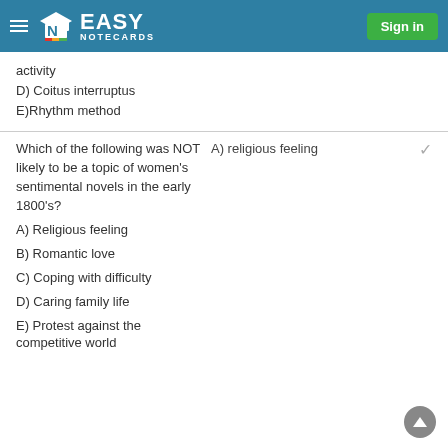Easy Notecards — Sign in
activity
D) Coitus interruptus
E)Rhythm method
Which of the following was NOT likely to be a topic of women's sentimental novels in the early 1800's?
A) religious feeling
A) Religious feeling
B) Romantic love
C) Coping with difficulty
D) Caring family life
E) Protest against the competitive world